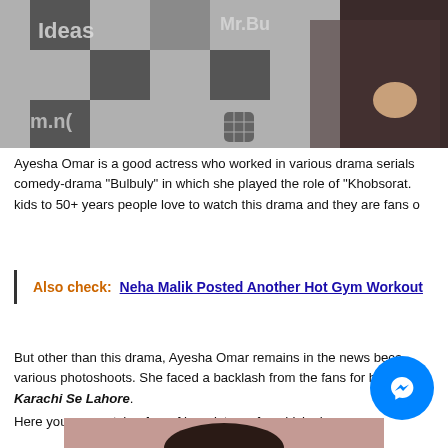[Figure (photo): Top portion of a photo showing a person in dark outfit in front of a checkered backdrop with text 'Ideas' and 'Mr.Bu' visible]
Ayesha Omar is a good actress who worked in various drama serials comedy-drama “Bulbuly” in which she played the role of “Khobsorat. kids to 50+ years people love to watch this drama and they are fans o
Also check:  Neha Malik Posted Another Hot Gym Workout
But other than this drama, Ayesha Omar remains in the news beca various photoshoots. She faced a backlash from the fans for her i Karachi Se Lahore.
Here you can watch a few of her pictures for which she [messenger icon] zed
[Figure (photo): Bottom portion of page showing partial photo of a person against a pink/mauve background]